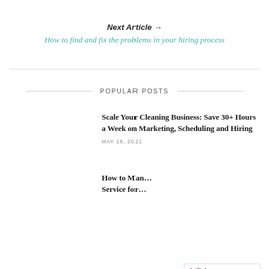Next Article →
How to find and fix the problems in your hiring process
POPULAR POSTS
Scale Your Cleaning Business: Save 30+ Hours a Week on Marketing, Scheduling and Hiring
MAY 18, 2021
How to Man... Service for...
[Figure (other): Language selector widget showing UK flag and 'English' text with a right arrow chevron]